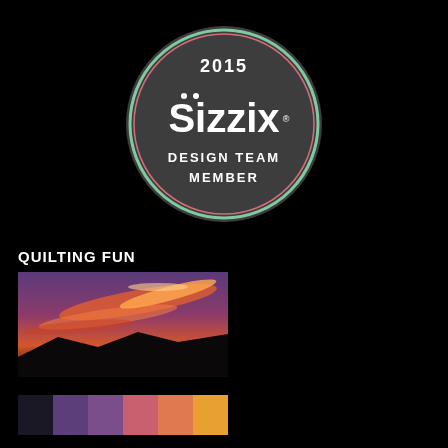[Figure (logo): 2015 Sizzix Design Team Member badge — dark charcoal circular badge with mint green and pink ring border, white text reading '2015 Sizzix DESIGN TEAM MEMBER']
QUILTING FUN
[Figure (photo): Sunset sky photo with vivid orange, pink, and purple clouds over dark mountain silhouette]
[Figure (infographic): Color palette swatches derived from the sunset photo: dark navy, deep purple, medium purple, muted pink/rose, coral/salmon, orange/yellow]